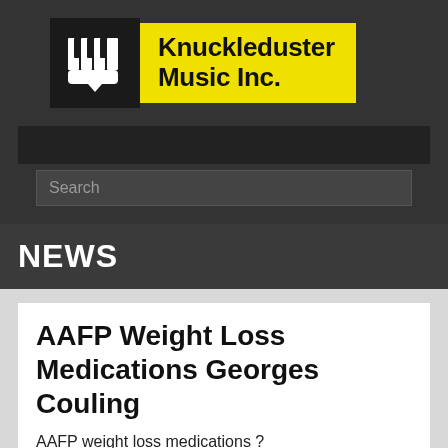[Figure (logo): Knuckleduster Music Inc. logo with piano keys icon on black background and yellow text box]
Knuckleduster Music Inc.
Search
NEWS
AAFP Weight Loss Medications Georges Couling
AAFP weight loss medications ?